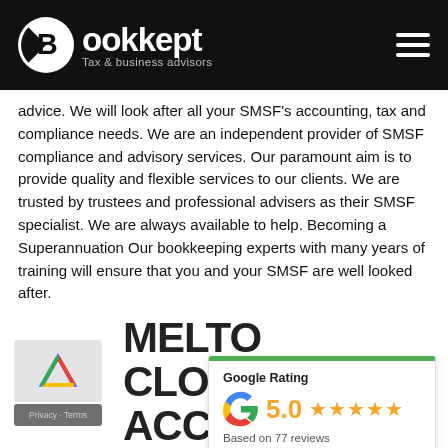Bookkept Tax & business advisors
advice. We will look after all your SMSF's accounting, tax and compliance needs. We are an independent provider of SMSF compliance and advisory services. Our paramount aim is to provide quality and flexible services to our clients. We are trusted by trustees and professional advisers as their SMSF specialist. We are always available to help. Becoming a Superannuation Our bookkeeping experts with many years of training will ensure that you and your SMSF are well looked after.
[Figure (infographic): Google Rating card showing 5.0 stars based on 77 reviews, with Google 'G' logo and green top border]
MELTON CLOUD ACCOUNTING